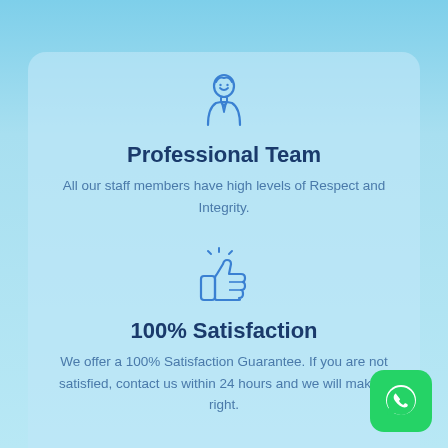[Figure (illustration): Blue line-art icon of a person/professional in business attire]
Professional Team
All our staff members have high levels of Respect and Integrity.
[Figure (illustration): Blue line-art thumbs up icon with shine lines indicating satisfaction]
100% Satisfaction
We offer a 100% Satisfaction Guarantee. If you are not satisfied, contact us within 24 hours and we will make it right.
[Figure (logo): WhatsApp green rounded square logo button in bottom right corner]